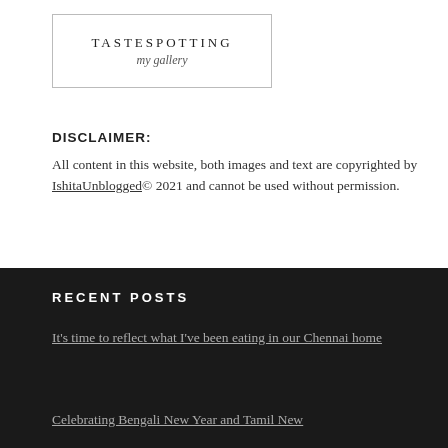[Figure (logo): TasteSpotting my gallery logo in a bordered rectangle]
DISCLAIMER:
All content in this website, both images and text are copyrighted by IshitaUnblogged© 2021 and cannot be used without permission.
RECENT POSTS
It’s time to reflect what I’ve been eating in our Chennai home
Celebrating Bengali New Year and Tamil New